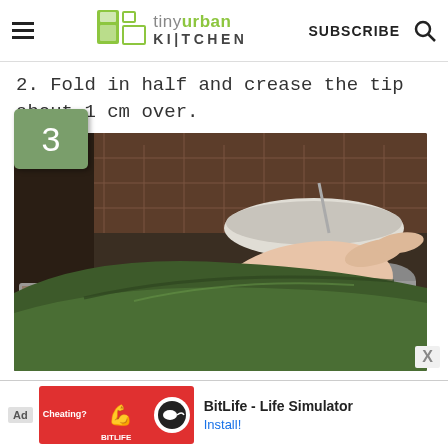tiny urban KITCHEN — SUBSCRIBE
2. Fold in half and crease the tip about 1 cm over.
[Figure (photo): Step 3: Hands folding a banana leaf in a kitchen setting, with a bowl and kitchen utensils in the background. A green numbered badge showing '3' overlays the top-left corner of the photo.]
[Figure (other): Advertisement banner: BitLife - Life Simulator game ad with Install button]